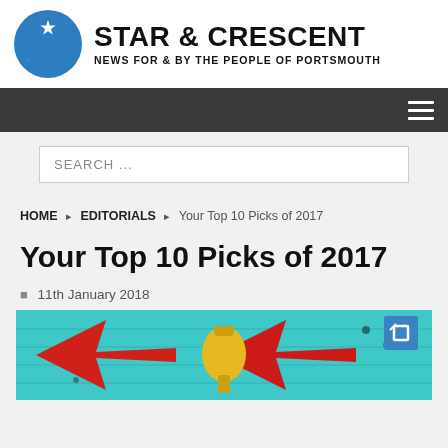[Figure (logo): Star & Crescent logo: blue circle with white star and crescent moon symbol, beside bold black text 'STAR & CRESCENT' with subtitle 'NEWS FOR & BY THE PEOPLE OF PORTSMOUTH']
SEARCH ...
HOME › EDITORIALS › Your Top 10 Picks of 2017
Your Top 10 Picks of 2017
11th January 2018
[Figure (photo): Colourful graffiti art on a brick wall — teal background with large red arrows and a yellow figure in the centre]